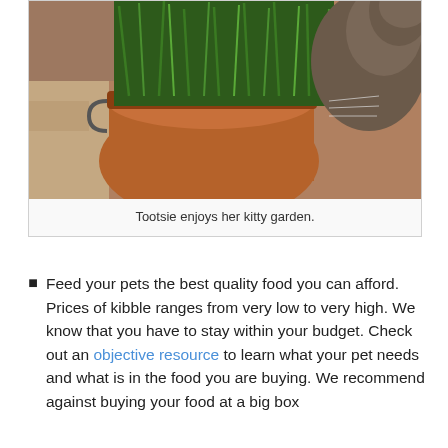[Figure (photo): A cat (Tootsie) sniffing or eating green grass/plants in a pot, photographed close-up on a tiled surface.]
Tootsie enjoys her kitty garden.
Feed your pets the best quality food you can afford. Prices of kibble ranges from very low to very high. We know that you have to stay within your budget. Check out an objective resource to learn what your pet needs and what is in the food you are buying. We recommend against buying your food at a big box